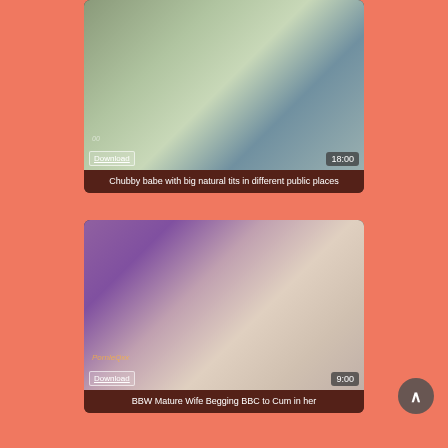[Figure (photo): Video thumbnail showing a chubby woman outdoors in a light blue top, with a Download link and 18:00 duration overlay]
Chubby babe with big natural tits in different public places
[Figure (photo): Video thumbnail showing a BBW red-haired woman with glasses lying on a dark surface in a white top, with a Download link and 9:00 duration overlay]
BBW Mature Wife Begging BBC to Cum in her